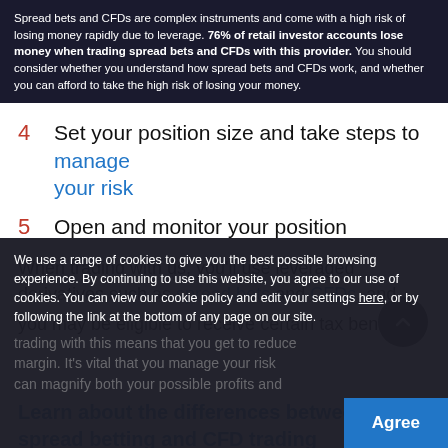Spread bets and CFDs are complex instruments and come with a high risk of losing money rapidly due to leverage. 76% of retail investor accounts lose money when trading spread bets and CFDs with this provider. You should consider whether you understand how spread bets and CFDs work, and whether you can afford to take the high risk of losing your money.
4  Set your position size and take steps to manage your risk
5  Open and monitor your position
When trading with us, you'll use leveraged derivatives such as spread bets and CFDs, and you may be eligible to receive certain tax benefits.2
Learn about the differences between spread betting and CFD trading
We use a range of cookies to give you the best possible browsing experience. By continuing to use this website, you agree to our use of cookies. You can view our cookie policy and edit your settings here, or by following the link at the bottom of any page on our site.
margin. It's vital that you manage your risk can magnify both your possible profits and...